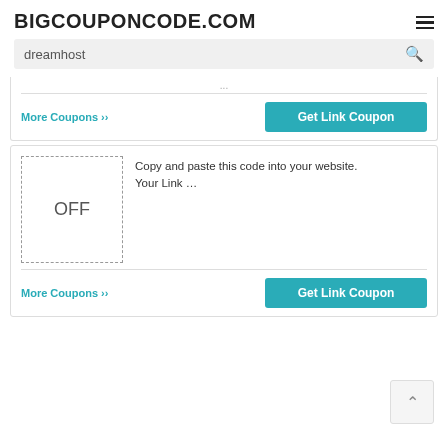BIGCOUPONCODE.COM
dreamhost
More Coupons »»  Get Link Coupon
Copy and paste this code into your website. Your Link …
OFF
More Coupons »»  Get Link Coupon